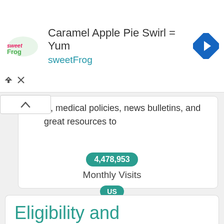[Figure (infographic): Advertisement banner for sweetFrog 'Caramel Apple Pie Swirl = Yum' with logo, text, and navigation icon]
is, medical policies, news bulletins, and great resources to
4,478,953
Monthly Visits
US
Popular in
UP
Service Status
9h ago
Last Checked
Eligibility and